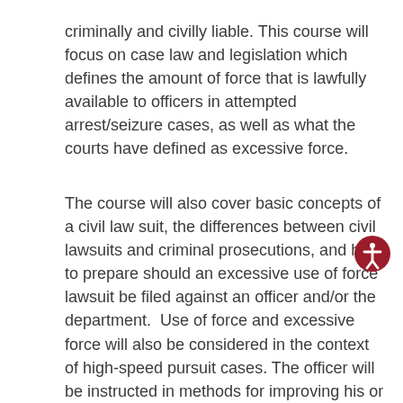criminally and civilly liable. This course will focus on case law and legislation which defines the amount of force that is lawfully available to officers in attempted arrest/seizure cases, as well as what the courts have defined as excessive force.
The course will also cover basic concepts of a civil law suit, the differences between civil lawsuits and criminal prosecutions, and how to prepare should an excessive use of force lawsuit be filed against an officer and/or the department. Use of force and excessive force will also be considered in the context of high-speed pursuit cases. The officer will be instructed in methods for improving his or her performance in the courtroom. In addition, there are sections dealing with the stages of the force continuum and with the concept of and techniques for de-escalation. Case scenarios involving the use of force, deadly force, and high-speed pursuits, force continuum, and de-escalation will be part of the